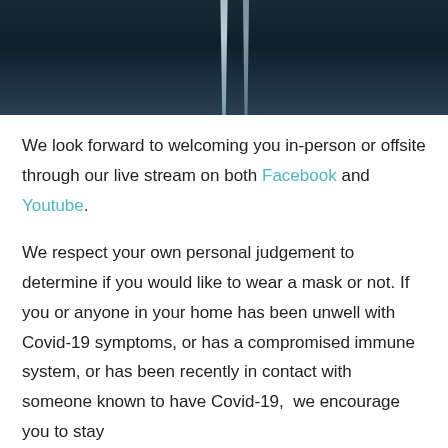[Figure (photo): Dark moody background photo, likely sky or water, with a vertical light streak in the center, cropped to top portion of page]
We look forward to welcoming you in-person or offsite through our live stream on both Facebook and Youtube.
We respect your own personal judgement to determine if you would like to wear a mask or not. If you or anyone in your home has been unwell with Covid-19 symptoms, or has a compromised immune system, or has been recently in contact with someone known to have Covid-19,  we encourage you to stay